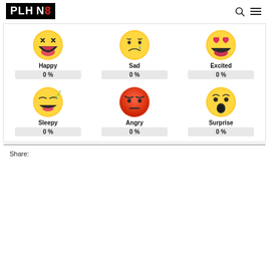PLAN8
[Figure (infographic): Six emoji reaction icons arranged in a 3x2 grid: Happy (laughing face), Sad (crying face), Excited (heart-eyes face), Sleepy (sleeping face with ZZZ), Angry (red angry face), Surprise (shocked face). Each emoji has a label and a percentage bar showing 0%.]
Share: